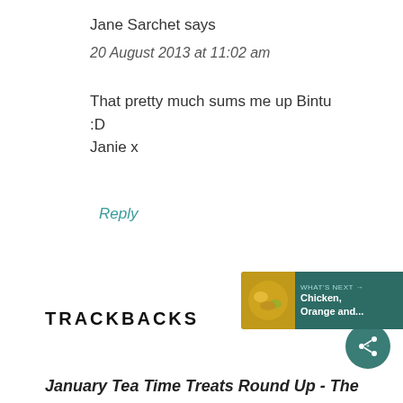Jane Sarchet says
20 August 2013 at 11:02 am
That pretty much sums me up Bintu :D Janie x
Reply
TRACKBACKS
January Tea Time Treats Round Up - The